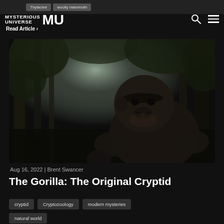MYSTERIOUS UNIVERSE | MU logo | Thylacine | woolly mammoth | Read Article >
[Figure (photo): A gorilla standing in a misty jungle forest scene with light streaming through the trees]
Aug 16, 2022  |  Brent Swancer
The Gorilla: The Original Cryptid
cryptid
Cryptozoology
modern mysteries
natural world